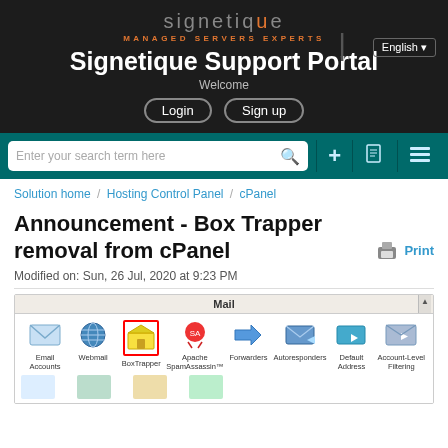[Figure (screenshot): Signetique support portal header with logo, 'Signetique Support Portal' title, Welcome text, Login and Sign up buttons, English language selector]
[Figure (screenshot): Teal navigation bar with search box 'Enter your search term here', plus icon, document icon, and menu icon]
Solution home / Hosting Control Panel / cPanel
Announcement - Box Trapper removal from cPanel
Modified on: Sun, 26 Jul, 2020 at 9:23 PM
[Figure (screenshot): cPanel Mail section screenshot showing icons: Email Accounts, Webmail, BoxTrapper (highlighted with red border), Apache SpamAssassin, Forwarders, Autoresponders, Default Address, Account-Level Filtering]